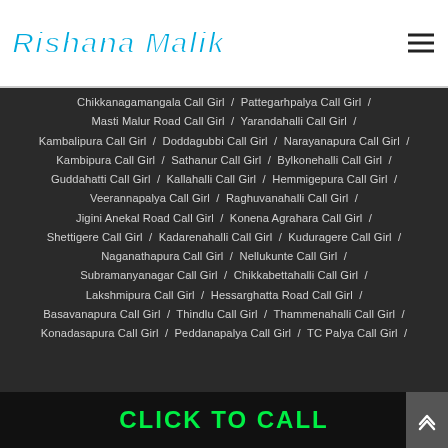Rishana Malik
Chikkanagamangala Call Girl / Pattegarhpalya Call Girl / Masti Malur Road Call Girl / Yarandahalli Call Girl / Kambalipura Call Girl / Doddagubbi Call Girl / Narayanapura Call Girl / Kambipura Call Girl / Sathanur Call Girl / Bylkonehalli Call Girl / Guddahatti Call Girl / Kallahalli Call Girl / Hemmigepura Call Girl / Veerannapalya Call Girl / Raghuvanahalli Call Girl / Jigini Anekal Road Call Girl / Konena Agrahara Call Girl / Shettigere Call Girl / Kadarenahalli Call Girl / Kuduragere Call Girl / Naganathapura Call Girl / Nellukunte Call Girl / Subramanyanagar Call Girl / Chikkabettahalli Call Girl / Lakshmipura Call Girl / Hessarghatta Road Call Girl / Basavanapura Call Girl / Thindlu Call Girl / Thammenahalli Call Girl / Konadasapura Call Girl / Peddanapalya Call Girl / TC Palya Call Girl /
CLICK TO CALL